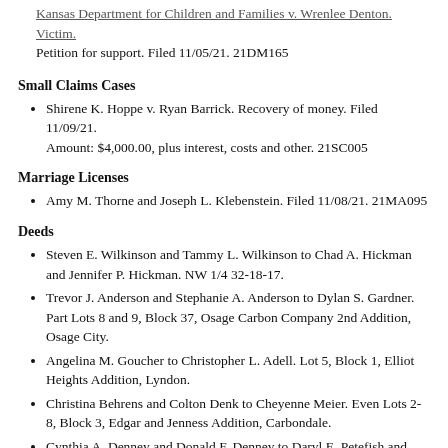Kansas Department for Children and Families v. Wrenlee Denton. Victim. Petition for support. Filed 11/05/21. 21DM165
Small Claims Cases
Shirene K. Hoppe v. Ryan Barrick. Recovery of money. Filed 11/09/21. Amount: $4,000.00, plus interest, costs and other. 21SC005
Marriage Licenses
Amy M. Thorne and Joseph L. Klebenstein. Filed 11/08/21. 21MA095
Deeds
Steven E. Wilkinson and Tammy L. Wilkinson to Chad A. Hickman and Jennifer P. Hickman. NW 1/4 32-18-17.
Trevor J. Anderson and Stephanie A. Anderson to Dylan S. Gardner. Part Lots 8 and 9, Block 37, Osage Carbon Company 2nd Addition, Osage City.
Angelina M. Goucher to Christopher L. Adell. Lot 5, Block 1, Elliot Heights Addition, Lyndon.
Christina Behrens and Colton Denk to Cheyenne Meier. Even Lots 2-8, Block 3, Edgar and Jenness Addition, Carbondale.
Cynthia A. Denney and Donald F. Denney to Daryl E. Petefish and Marcella A. Petefish. Part Lot 11 and All 12, Block 8, Country Side Heights